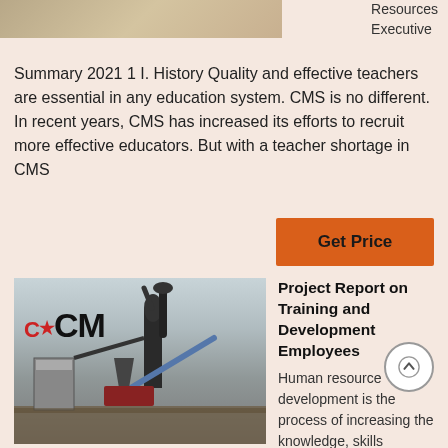[Figure (photo): Partial view of a building/construction site photo at the top left]
Resources Executive
Summary 2021 1 I. History Quality and effective teachers are essential in any education system. CMS is no different. In recent years, CMS has increased its efforts to recruit more effective educators. But with a teacher shortage in CMS
[Figure (other): Orange 'Get Price' button]
[Figure (photo): Industrial CCM grinding mill machinery at a construction site]
Project Report on Training and Development Employees
Human resource development is the process of increasing the knowledge, skills